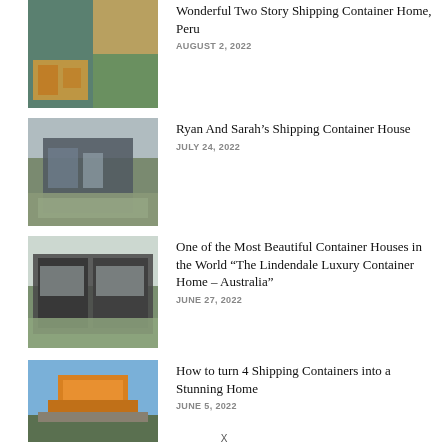[Figure (photo): Two-story shipping container home exterior, Peru]
Wonderful Two Story Shipping Container Home, Peru
AUGUST 2, 2022
[Figure (photo): Ryan and Sarah's shipping container house exterior]
Ryan And Sarah’s Shipping Container House
JULY 24, 2022
[Figure (photo): The Lindendale Luxury Container Home in Australia]
One of the Most Beautiful Container Houses in the World “The Lindendale Luxury Container Home – Australia”
JUNE 27, 2022
[Figure (photo): Four shipping containers stacked into a stunning home, yellow containers]
How to turn 4 Shipping Containers into a Stunning Home
JUNE 5, 2022
X